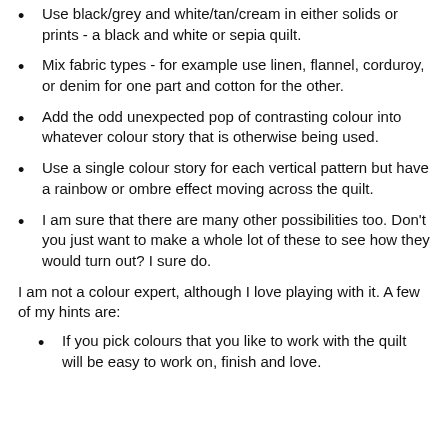Use black/grey and white/tan/cream in either solids or prints - a black and white or sepia quilt.
Mix fabric types - for example use linen, flannel, corduroy, or denim for one part and cotton for the other.
Add the odd unexpected pop of contrasting colour into whatever colour story that is otherwise being used.
Use a single colour story for each vertical pattern but have a rainbow or ombre effect moving across the quilt.
I am sure that there are many other possibilities too. Don't you just want to make a whole lot of these to see how they would turn out? I sure do.
I am not a colour expert, although I love playing with it. A few of my hints are:
If you pick colours that you like to work with the quilt will be easy to work on, finish and love.